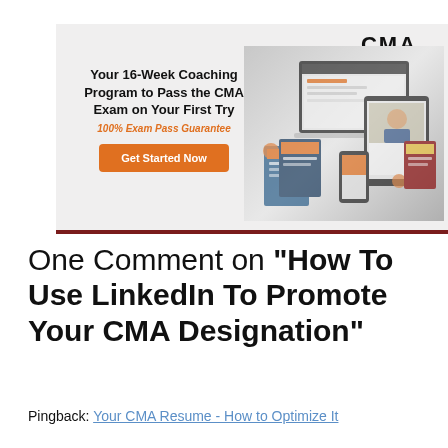[Figure (infographic): CMA Exam Academy advertisement banner. Light gray background with dark red bottom border. CMA Exam Academy logo top right. Left side: bold headline 'Your 16-Week Coaching Program to Pass the CMA Exam on Your First Try', orange italic text '100% Exam Pass Guarantee', orange 'Get Started Now' button. Right side: product mockup images of screens, books, and course materials.]
One Comment on "How To Use LinkedIn To Promote Your CMA Designation"
Pingback: Your CMA Resume - How to Optimize It